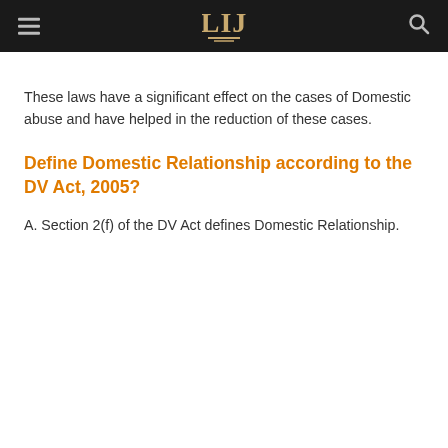LIJ [logo] [hamburger menu] [search icon]
These laws have a significant effect on the cases of Domestic abuse and have helped in the reduction of these cases.
Define Domestic Relationship according to the DV Act, 2005?
A. Section 2(f) of the DV Act defines Domestic Relationship.